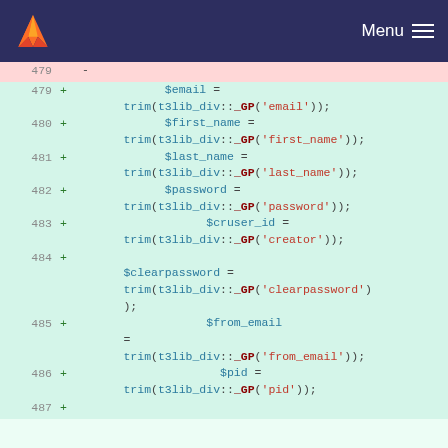[Figure (screenshot): GitLab navigation bar with logo and Menu hamburger icon on dark navy background]
Code diff view showing PHP lines 479-487 with added lines (green background). Lines show variable assignments using trim(t3lib_div::_GP(...)) calls for $email, $first_name, $last_name, $password, $cruser_id, $clearpassword, $from_email, $pid.